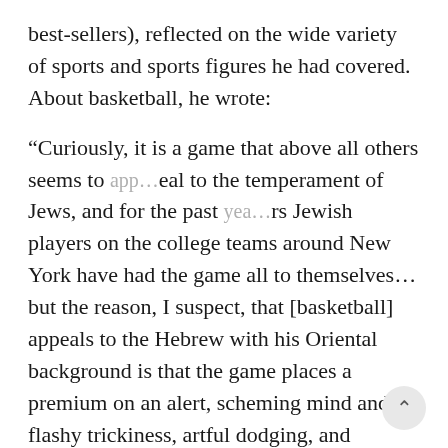best-sellers), reflected on the wide variety of sports and sports figures he had covered. About basketball, he wrote:
“Curiously, it is a game that above all others seems to appeal to the temperament of Jews, and for the past years Jewish players on the college teams around New York have had the game all to themselves…but the reason, I suspect, that [basketball] appeals to the Hebrew with his Oriental background is that the game places a premium on an alert, scheming mind and flashy trickiness, artful dodging, and general smart-aleckness…”
Gallico, to be sure, did not put a premium on avoiding ignorant stereotypes.